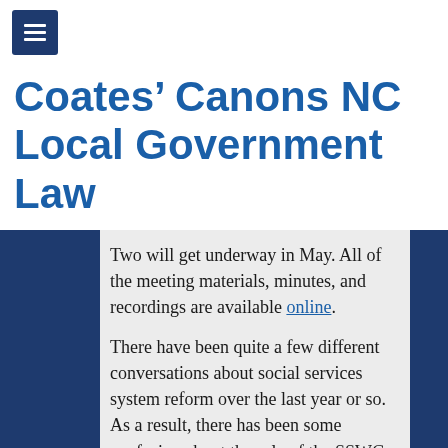[Figure (other): Navigation menu hamburger button with three horizontal white lines on dark navy blue background]
Coates’ Canons NC Local Government Law
Two will get underway in May. All of the meeting materials, minutes, and recordings are available online.
There have been quite a few different conversations about social services system reform over the last year or so. As a result, there has been some confusion about the role of the SSWG. This blog post is intended to shed some light on the group’s charge and connect some dots between the work of the SSWG and other elements of system reform that are underway.